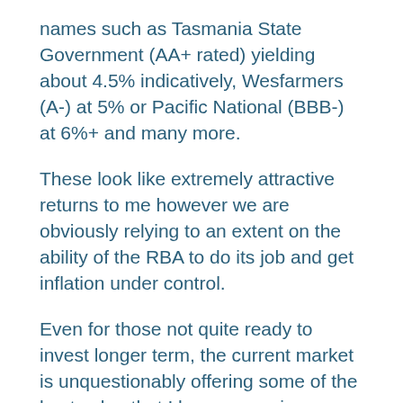names such as Tasmania State Government (AA+ rated) yielding about 4.5% indicatively, Wesfarmers (A-) at 5% or Pacific National (BBB-) at 6%+ and many more.
These look like extremely attractive returns to me however we are obviously relying to an extent on the ability of the RBA to do its job and get inflation under control.
Even for those not quite ready to invest longer term, the current market is unquestionably offering some of the best value that I have seen since joining FIIG almost a decade ago. Yes, there is some uncertainty in the air but that is part of what is creating the opportunity.
I may not be seen as the most impartial observer,